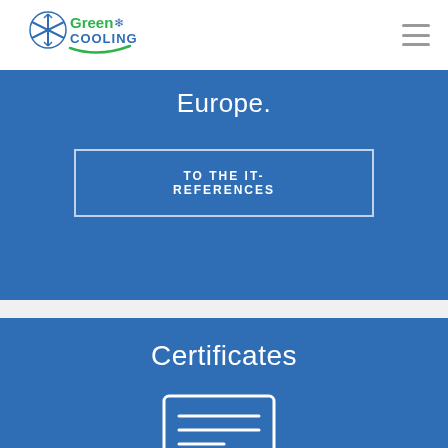[Figure (logo): Green Cooling logo with snowflake and leaf, green and blue colors]
Europe.
TO THE IT-REFERENCES
Certificates
[Figure (illustration): Certificate icon with document lines and award ribbon, white outline on blue background]